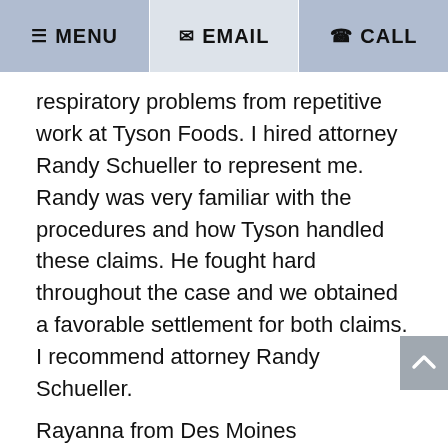☰ MENU   ✉ EMAIL   ✆ CALL
respiratory problems from repetitive work at Tyson Foods. I hired attorney Randy Schueller to represent me. Randy was very familiar with the procedures and how Tyson handled these claims. He fought hard throughout the case and we obtained a favorable settlement for both claims. I recommend attorney Randy Schueller.
Rayanna from Des Moines
I hurt my shoulder and neck working for John Deere in Ankeny. John Deere denied my claim throughout the process and refused to pay for my medical treatment. I hired attorney Randy Schueller. He was professional, experienced, aggressive and always responsive to my questions